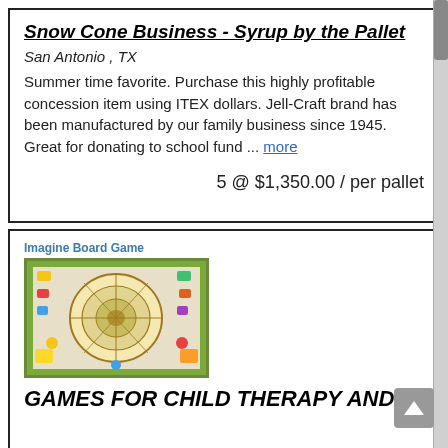Snow Cone Business - Syrup by the Pallet
San Antonio , TX
Summer time favorite. Purchase this highly profitable concession item using ITEX dollars. Jell-Craft brand has been manufactured by our family business since 1945. Great for donating to school fund ... more
5 @ $1,350.00 / per pallet
[Figure (photo): Board game image labeled 'Imagine Board Game' showing a colorful illustrated board game with circular game board design]
GAMES FOR CHILD THERAPY AND